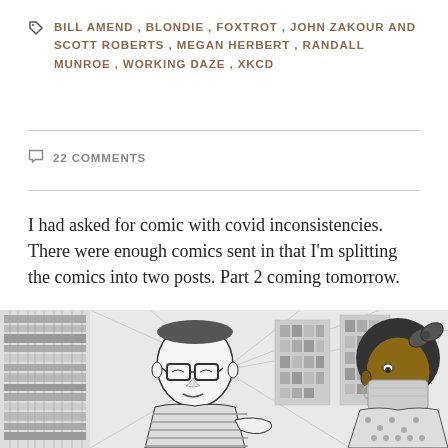BILL AMEND, BLONDIE, FOXTROT, JOHN ZAKOUR AND SCOTT ROBERTS, MEGAN HERBERT, RANDALL MUNROE, WORKING DAZE, XKCD
22 COMMENTS
I had asked for comic with covid inconsistencies. There were enough comics sent in that I'm splitting the comics into two posts. Part 2 coming tomorrow.
woozy sent this one in:
[Figure (illustration): Black and white comic strip panel showing two characters — a man with glasses and a striped shirt, and a person with an afro hairstyle wearing a mask — in what appears to be a library or bookstore setting with shelves of books in the background.]